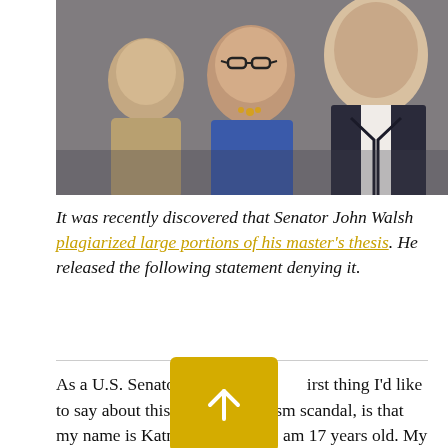[Figure (photo): Photo of people including a woman with glasses in a blue outfit and a man in a dark suit, at what appears to be a formal hearing or event.]
It was recently discovered that Senator John Walsh plagiarized large portions of his master's thesis. He released the following statement denying it.
As a U.S. Senator of Montana, the first thing I'd like to say about this whole plagiarism scandal, is that my name is Katniss Everdeen. I am 17 years old. My home is District 12. I was in the Hunger Games. I escaped. The Capitol hates me.